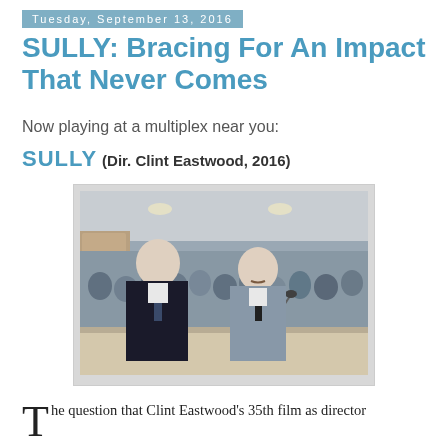Tuesday, September 13, 2016
SULLY: Bracing For An Impact That Never Comes
Now playing at a multiplex near you:
SULLY (Dir. Clint Eastwood, 2016)
[Figure (photo): Still from the film Sully (2016) showing two men in suits seated at a hearing table, with an audience in the background.]
The question that Clint Eastwood's 35th film as director